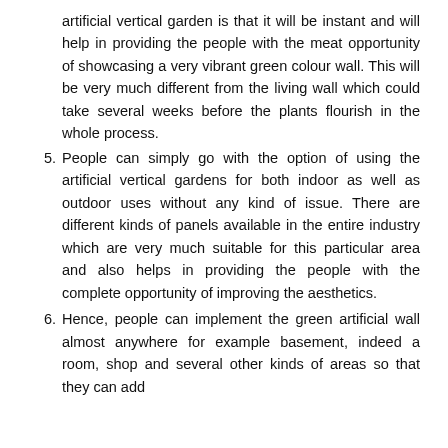artificial vertical garden is that it will be instant and will help in providing the people with the meat opportunity of showcasing a very vibrant green colour wall. This will be very much different from the living wall which could take several weeks before the plants flourish in the whole process.
5. People can simply go with the option of using the artificial vertical gardens for both indoor as well as outdoor uses without any kind of issue. There are different kinds of panels available in the entire industry which are very much suitable for this particular area and also helps in providing the people with the complete opportunity of improving the aesthetics.
6. Hence, people can implement the green artificial wall almost anywhere for example basement, indeed a room, shop and several other kinds of areas so that they can add